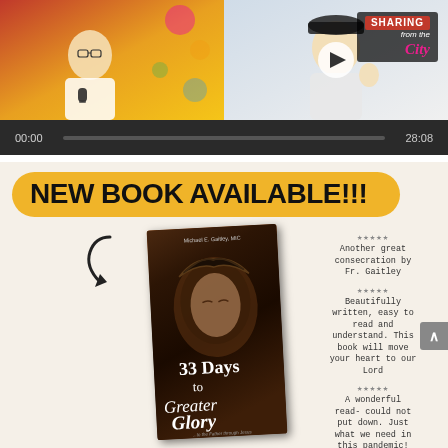[Figure (screenshot): Video player screenshot showing two people on a video call with 'SHARING from the City' branding overlay, progress bar showing 00:00 to 28:08]
NEW BOOK AVAILABLE!!!
[Figure (photo): Book cover of '33 Days to Greater Glory' by Michael E. Gaitley, MIC, showing a close-up of Jesus with crown of thorns]
The Final consecration to our Heavenly Father truly is the "greater" consecration
★★★★★
Another great consecration by Fr. Gaitley
★★★★★
Beautifully written, easy to read and understand. This book will move your heart to our Lord
★★★★★
A wonderful read- could not put down. Just what we need in this pandemic!